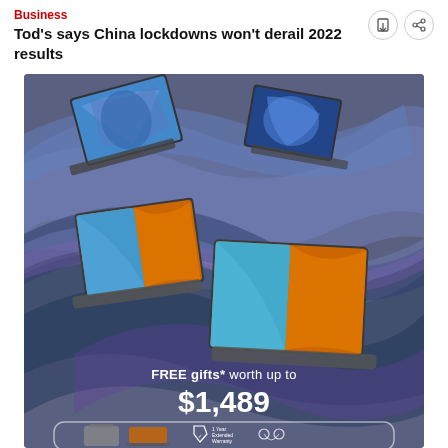Business
Tod's says China lockdowns won't derail 2022 results
[Figure (infographic): Advertisement image for laptops on a purple/blue gradient swirling background. Shows four laptops floating with colorful screens (blue abstract pattern and orange/teal swirl designs). Bottom section shows 'FREE gifts* worth up to $1,489' text in white, with a rounded rectangle outline containing images of gift items including a bag, laptop screen, warranty shield icon, and earphones.]